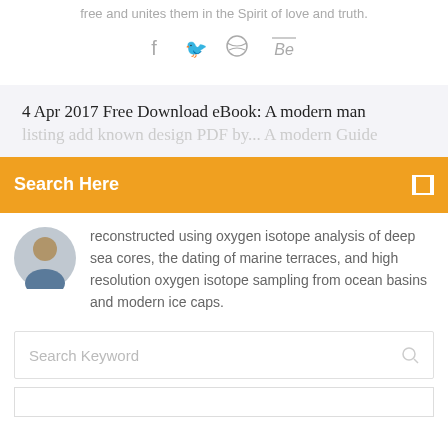free and unites them in the Spirit of love and truth.
[Figure (infographic): Social media icons: Facebook (f), Twitter (bird), Dribbble, Behance (Be) in grey]
4 Apr 2017 Free Download eBook: A modern man listing add known design PDF by...
Search Here
[Figure (photo): Small circular avatar photo of a young man]
reconstructed using oxygen isotope analysis of deep sea cores, the dating of marine terraces, and high resolution oxygen isotope sampling from ocean basins and modern ice caps.
Search Keyword